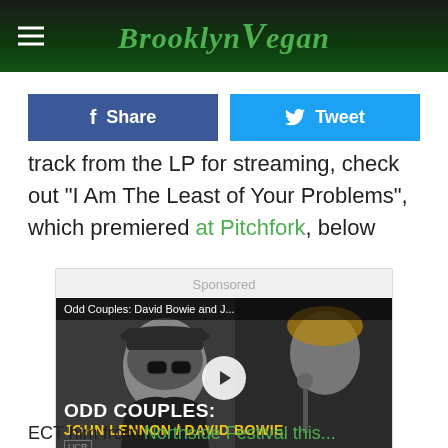BrooklynVegan
[Figure (screenshot): Facebook Share and Twitter Tweet social sharing buttons]
track from the LP for streaming, check out "I Am The Least of Your Problems", which premiered at Pitchfork, below
[Figure (screenshot): Sponsored video thumbnail: Odd Couples: David Bowie and J... - ODD COUPLES: JOHN LENNON / DAVID BOWIE with play button overlay, grayscale image of John Lennon and David Bowie]
ECT him from Northside Festival this...